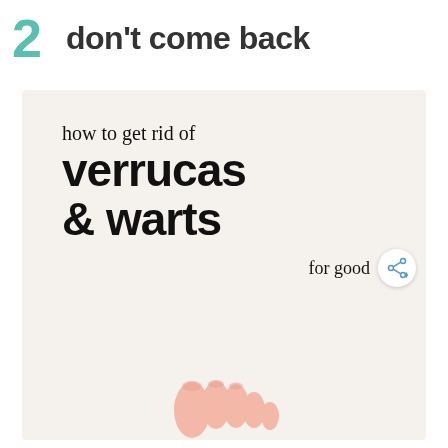2 don't come back
[Figure (illustration): Infographic image with cream/beige background showing text 'how to get rid of verrucas & warts for good' in large bold sans-serif font, with a share button icon in the lower right, and a partial image of toes/foot at the bottom.]